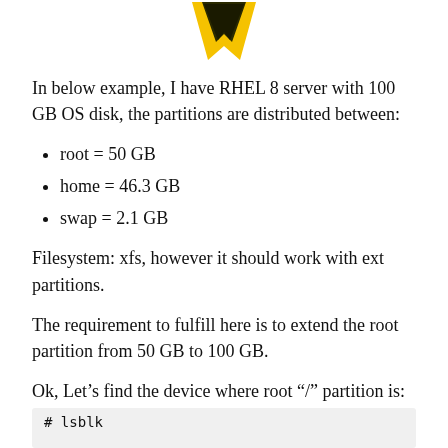[Figure (logo): Yellow and black downward-pointing chevron/arrow logo]
In below example, I have RHEL 8 server with 100 GB OS disk, the partitions are distributed between:
root = 50 GB
home = 46.3 GB
swap = 2.1 GB
Filesystem: xfs, however it should work with ext partitions.
The requirement to fulfill here is to extend the root partition from 50 GB to 100 GB.
Ok, Let’s find the device where root “/” partition is:
# lsblk